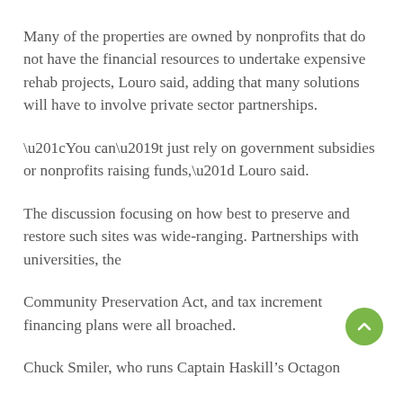Many of the properties are owned by nonprofits that do not have the financial resources to undertake expensive rehab projects, Louro said, adding that many solutions will have to involve private sector partnerships.
“You can’t just rely on government subsidies or nonprofits raising funds,” Louro said.
The discussion focusing on how best to preserve and restore such sites was wide-ranging. Partnerships with universities, the
Community Preservation Act, and tax increment financing plans were all broached.
Chuck Smiler, who runs Captain Haskill’s Octagon